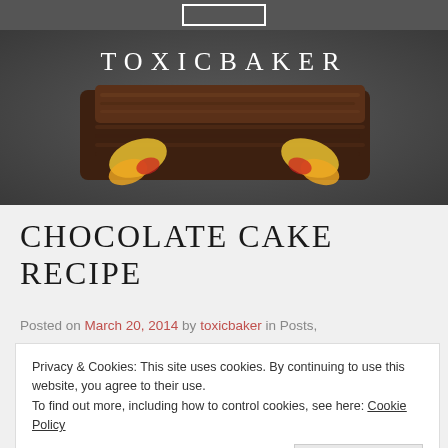[Figure (photo): Close-up photo of stacked chocolate cake brownies with decorative butterfly picks, dark grey background. Site title TOXICBAKER overlaid in white serif letters.]
CHOCOLATE CAKE RECIPE
Posted on March 20, 2014 by toxicbaker in Posts,
Privacy & Cookies: This site uses cookies. By continuing to use this website, you agree to their use.
To find out more, including how to control cookies, see here: Cookie Policy
Close and accept
create my own individual baking recipes. I am still